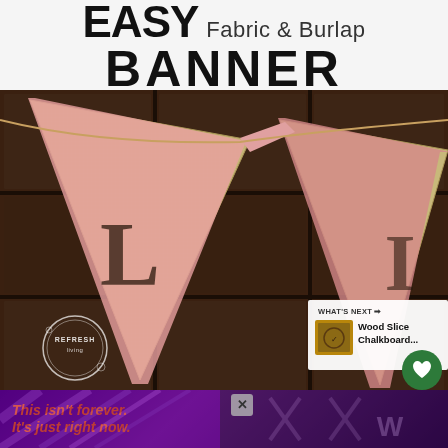EASY Fabric & Burlap BANNER
[Figure (photo): Close-up photo of a fabric and burlap pennant banner. The banner flags are triangular—made from burlap with a stamped letter 'L' visible, bordered by pink/cream striped fabric. Flags hang against a dark wooden shelf background. A circular 'REFRESH Living' watermark logo is in the bottom-left of the photo. A small 'WHAT'S NEXT' panel in the bottom-right shows a thumbnail and text 'Wood Slice Chalkboard...']
This isn't forever. It's just right now.